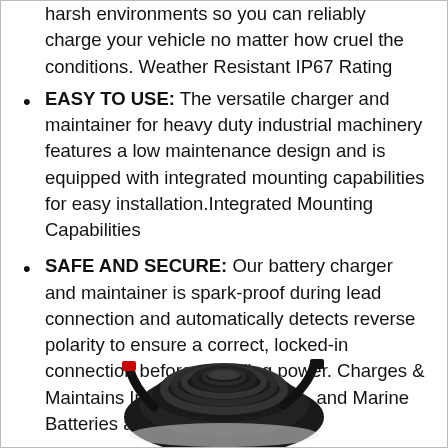harsh environments so you can reliably charge your vehicle no matter how cruel the conditions. Weather Resistant IP67 Rating
EASY TO USE: The versatile charger and maintainer for heavy duty industrial machinery features a low maintenance design and is equipped with integrated mounting capabilities for easy installation.Integrated Mounting Capabilities
SAFE AND SECURE: Our battery charger and maintainer is spark-proof during lead connection and automatically detects reverse polarity to ensure a correct, locked-in connection before providing power. Charges & Maintains Industrial, Automotive, and Marine Batteries at Optimal Charge
[Figure (photo): Photo of coiled black cables/wiring for a battery charger, shown at the bottom of the page]